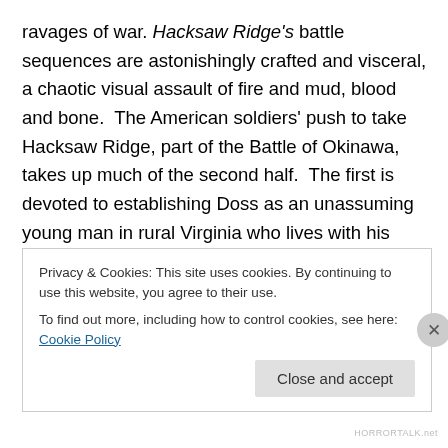ravages of war. Hacksaw Ridge's battle sequences are astonishingly crafted and visceral, a chaotic visual assault of fire and mud, blood and bone.  The American soldiers' push to take Hacksaw Ridge, part of the Battle of Okinawa, takes up much of the second half.  The first is devoted to establishing Doss as an unassuming young man in rural Virginia who lives with his parents (Hugo Weaving, who plays his tormented veteran father, is astonishing) and brother.  He becomes infatuated with a nurse (Teresa Palmer), who gives him books that help further his aptitude for tending wounds.  Right as the two
Privacy & Cookies: This site uses cookies. By continuing to use this website, you agree to their use.
To find out more, including how to control cookies, see here: Cookie Policy
HORRORTALK.net